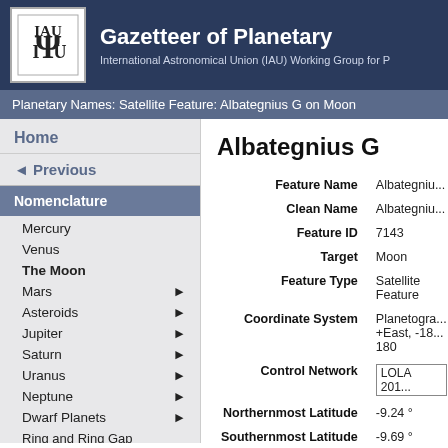Gazetteer of Planetary — International Astronomical Union (IAU) Working Group for P
Planetary Names: Satellite Feature: Albategnius G on Moon
Home
◄ Previous
Nomenclature
Mercury
Venus
The Moon
Mars ►
Asteroids ►
Jupiter ►
Saturn ►
Uranus ►
Neptune ►
Dwarf Planets ►
Ring and Ring Gap Nomenclature
Planet and Satellite Names, Discoverers, and Themes
Albategnius G
| Field | Value |
| --- | --- |
| Feature Name | Albategniu... |
| Clean Name | Albategniu... |
| Feature ID | 7143 |
| Target | Moon |
| Feature Type | Satellite Feature |
| Coordinate System | Planetogra... +East, -18... 180 |
| Control Network | LOLA 201... |
| Northernmost Latitude | -9.24 ° |
| Southernmost Latitude | -9.69 ° |